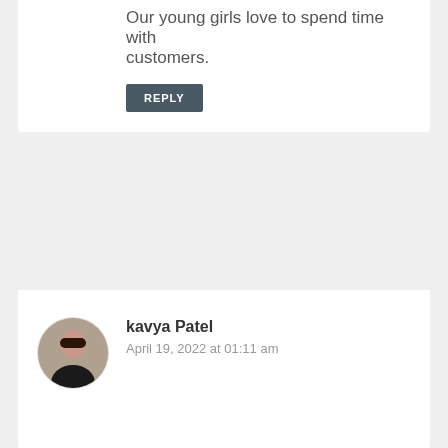Our young girls love to spend time with customers.
REPLY
kavya Patel
April 19, 2022 at 01:12 am
hi... good AND nice
REPLY
[Figure (photo): Avatar photo of kavya Patel]
kavya Patel
April 19, 2022 at 01:11 am
[Figure (photo): Avatar photo of kavya Patel]